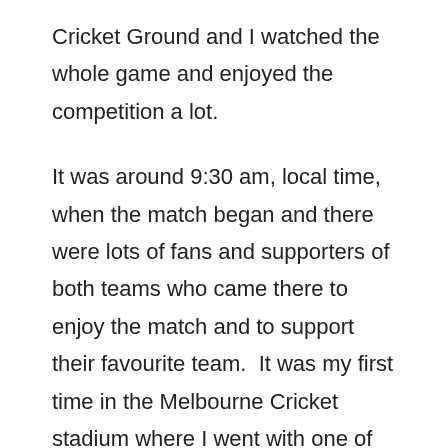Cricket Ground and I watched the whole game and enjoyed the competition a lot.
It was around 9:30 am, local time, when the match began and there were lots of fans and supporters of both teams who came there to enjoy the match and to support their favourite team.  It was my first time in the Melbourne Cricket stadium where I went with one of my friends and his wife.
The cricket match between India and Australia has a different dimension and contest as these two teams have been competitors from the very early days of cricket history. Their matches ignite some flair and it is quite a